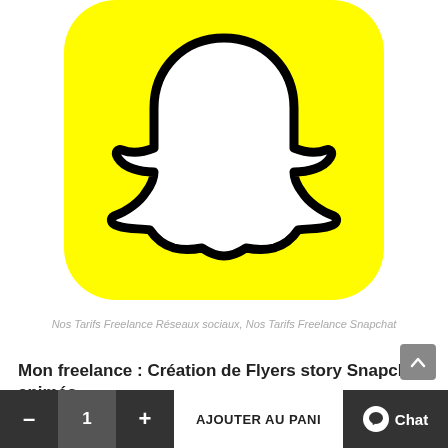[Figure (logo): Snapchat app icon — yellow rounded square background with white ghost logo outlined in black]
Nos Tarifs Freelance Réseaux sociaux, Nos Tarifs Freelance Snapchat
Mon freelance : Création de Flyers story Snapchat animés
€58,00
Ajouter au panier
- 1 + AJOUTER AU PANI Chat